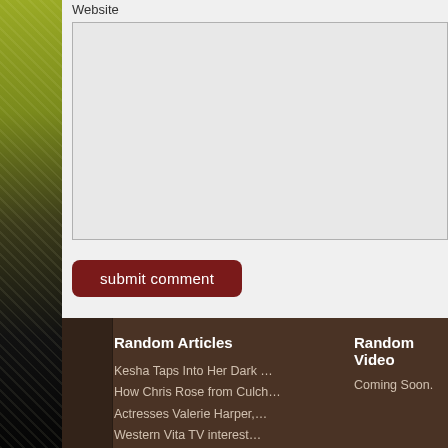Website
[Figure (other): Empty text area input box with light grey background and border]
submit comment
Random Articles
Random Video
Kesha Taps Into Her Dark …
How Chris Rose from Culch…
Actresses Valerie Harper,…
Western Vita TV interest…
Coming Soon.